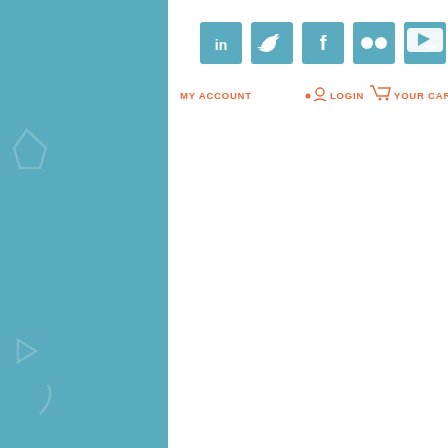[Figure (screenshot): Website header screenshot showing social media icons (LinkedIn, Twitter, Facebook, Flickr, YouTube) in teal square buttons, account/login navigation in orange, a tagline 'Portable warm water hand washing for children.' in light gray italic, a search bar with 'Enter keyword' placeholder, an orange dropdown menu bar 'Select menu item', and an orange section with text 'Hand Washing Hall of Fame welcomes Burton Pre-School'. Background is teal with decorative geometric shapes.]